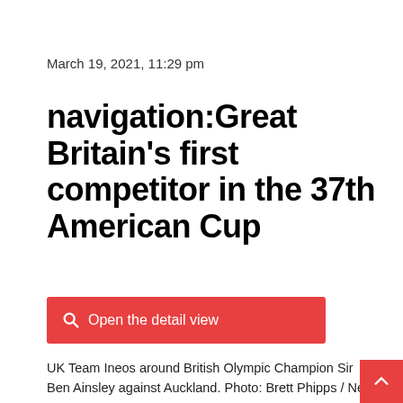March 19, 2021, 11:29 pm
navigation:Great Britain's first competitor in the 37th American Cup
[Figure (other): Red button with search icon and text 'Open the detail view']
UK Team Ineos around British Olympic Champion Sir Ben Ainsley against Auckland. Photo: Brett Phipps / New Zealand Herald / AP / dpa (Photo: d Directly from the dpa news channel